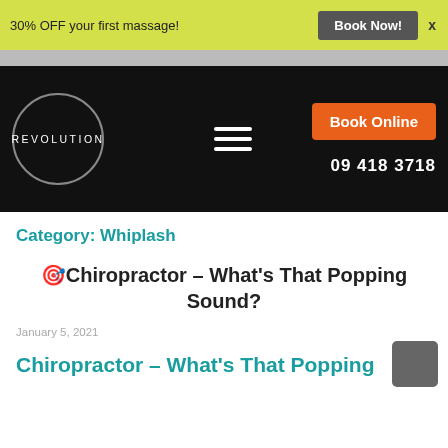30% OFF your first massage! Book Now! x
[Figure (logo): Revolution chiropractic logo — circle with REVOLUTION text, hamburger menu icon, Book Online orange button, phone number 09 418 3718]
Category: Whiplash
🎯 Chiropractor – What's That Popping Sound?
January 5, 2021
Chiropractor – What's That Popping